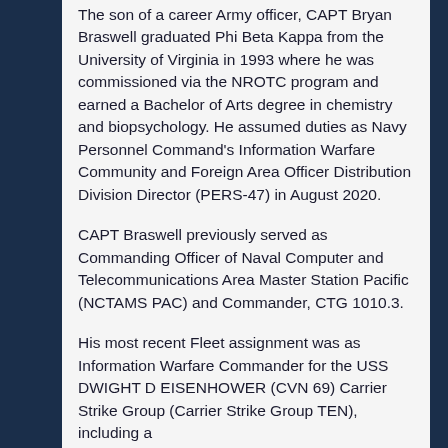The son of a career Army officer, CAPT Bryan Braswell graduated Phi Beta Kappa from the University of Virginia in 1993 where he was commissioned via the NROTC program and earned a Bachelor of Arts degree in chemistry and biopsychology. He assumed duties as Navy Personnel Command's Information Warfare Community and Foreign Area Officer Distribution Division Director (PERS-47) in August 2020.
CAPT Braswell previously served as Commanding Officer of Naval Computer and Telecommunications Area Master Station Pacific (NCTAMS PAC) and Commander, CTG 1010.3.
His most recent Fleet assignment was as Information Warfare Commander for the USS DWIGHT D EISENHOWER (CVN 69) Carrier Strike Group (Carrier Strike Group TEN), including a